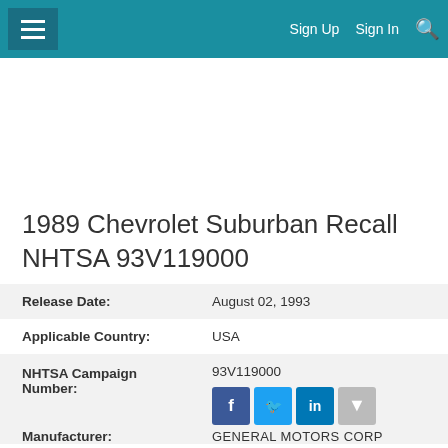≡  Sign Up  Sign In  🔍
1989 Chevrolet Suburban Recall NHTSA 93V119000
| Field | Value |
| --- | --- |
| Release Date: | August 02, 1993 |
| Applicable Country: | USA |
| NHTSA Campaign Number: | 93V119000 |
| Manufacturer: | GENERAL MOTORS CORP |